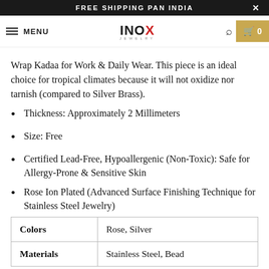FREE SHIPPING PAN INDIA
INOX JEWELRY — MENU | Search | Cart 0
Wrap Kadaa for Work & Daily Wear. This piece is an ideal choice for tropical climates because it will not oxidize nor tarnish (compared to Silver Brass).
Thickness: Approximately 2 Millimeters
Size: Free
Certified Lead-Free, Hypoallergenic (Non-Toxic): Safe for Allergy-Prone & Sensitive Skin
Rose Ion Plated (Advanced Surface Finishing Technique for Stainless Steel Jewelry)
|  |  |
| --- | --- |
| Colors | Rose, Silver |
| Materials | Stainless Steel, Bead |